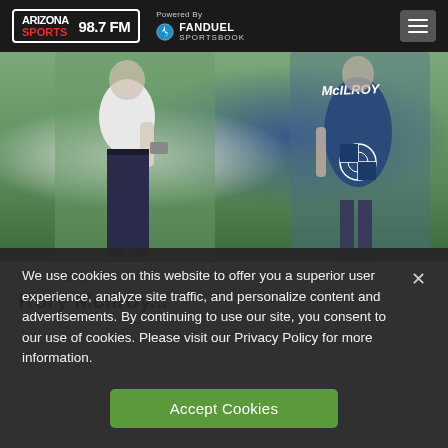Arizona Sports 98.7 FM | Powered By FanDuel Sportsbook
[Figure (photo): Golf photo showing a golfer in white shirt and dark pants on the left, and a caddie wearing a blue vest with McILROY written on the back and a BMW logo on the right]
Haboob Blog
Rory McIlroy...
We use cookies on this website to offer you a superior user experience, analyze site traffic, and personalize content and advertisements. By continuing to use our site, you consent to our use of cookies. Please visit our Privacy Policy for more information.
Accept Cookies